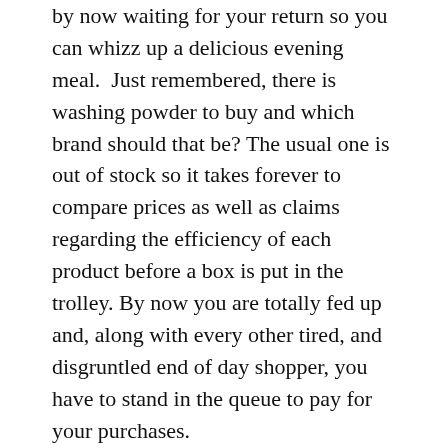by now waiting for your return so you can whizz up a delicious evening meal.  Just remembered, there is washing powder to buy and which brand should that be? The usual one is out of stock so it takes forever to compare prices as well as claims regarding the efficiency of each product before a box is put in the trolley. By now you are totally fed up and, along with every other tired, and disgruntled end of day shopper, you have to stand in the queue to pay for your purchases.
When you finally get to the checkout lady you still have to decide whether to pay with your already heavily loaded credit card or to use those extremely rare bank notes. When will the decision making end? You carry away your shopping and put it in the car.  Now to decide on whether to hoot at the gate of your home in the hope that someone will come out to help carry the packages inside, or just to drive in